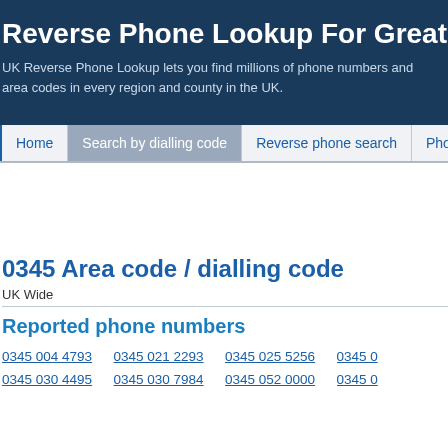Reverse Phone Lookup For Great
UK Reverse Phone Lookup lets you find millions of phone numbers and area codes in every region and county in the UK.
Home | Search by dialling code | Reverse phone search | Phone c
0345 Area code / dialling code
UK Wide
Reported phone numbers
0345 004 4793
0345 021 2293
0345 025 5256
0345 0
0345 030 4495
0345 030 7984
0345 052 0000
0345 0